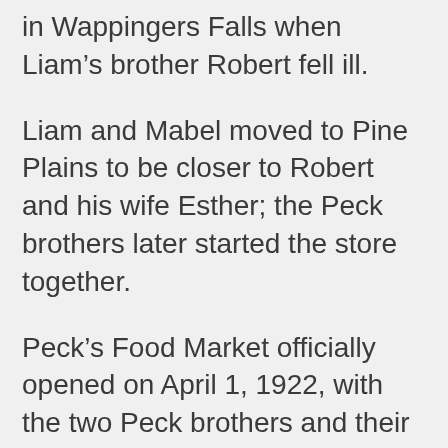in Wappingers Falls when Liam's brother Robert fell ill.
Liam and Mabel moved to Pine Plains to be closer to Robert and his wife Esther; the Peck brothers later started the store together.
Peck's Food Market officially opened on April 1, 1922, with the two Peck brothers and their wives living above the store.
Bill said the original store was located on South Main Street just south of the town's stoplight at the intersection of routes 199 and 83. It was located to the left of the current restaurant El